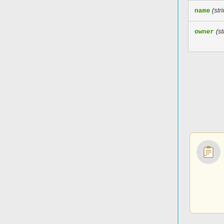| Parameter | Description |
| --- | --- |
| name (string; Default: ) | Used to identify profile. |
| owner (string; Default: ) | The 'Owner' of the Profile (usually 'admin'). |
Note: If the 'Starts' value is set to 'At first logon', then the Validity value starts counting. E.g. If Validity is set to 1d, then 1 day after the first logon, regardless if the user has used all their online time or not, the profile will become invalid and they will be unable to log on again unless a new profile is available in their list of valid profiles.